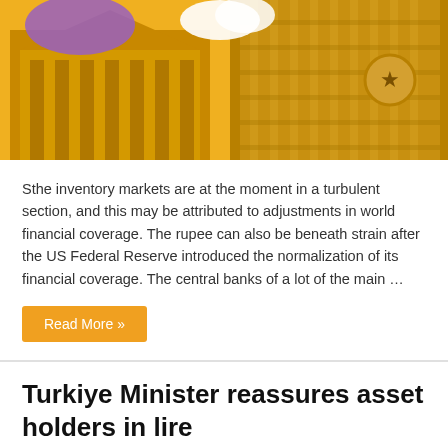[Figure (photo): Stylized illustration of financial/government buildings with golden yellow and purple color scheme, partially cropped at the top of the page]
Sthe inventory markets are at the moment in a turbulent section, and this may be attributed to adjustments in world financial coverage. The rupee can also be beneath strain after the US Federal Reserve introduced the normalization of its financial coverage. The central banks of a lot of the main …
Read More »
Turkiye Minister reassures asset holders in lire
December 22, 2021   Macroeconomics   Comments Off
[Figure (photo): Photo of three men in suits at what appears to be an official meeting or press conference, with one wearing a face mask]